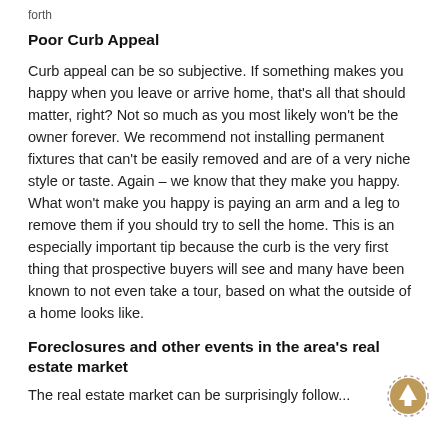forth
Poor Curb Appeal
Curb appeal can be so subjective. If something makes you happy when you leave or arrive home, that's all that should matter, right? Not so much as you most likely won't be the owner forever. We recommend not installing permanent fixtures that can't be easily removed and are of a very niche style or taste. Again – we know that they make you happy. What won't make you happy is paying an arm and a leg to remove them if you should try to sell the home. This is an especially important tip because the curb is the very first thing that prospective buyers will see and many have been known to not even take a tour, based on what the outside of a home looks like.
Foreclosures and other events in the area's real estate market
The real estate market can be surprisingly follow...